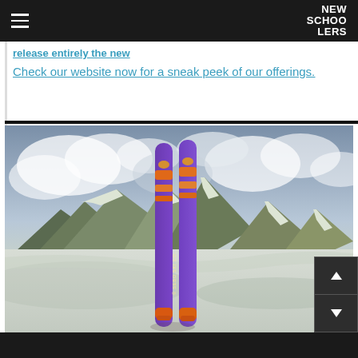NEW SCHOOLERS
Check our website now for a sneak peek of our offerings.
[Figure (photo): Two purple skis with orange stripe graphic and a running horse logo (SEBO SKI CO.) standing upright in snow, with a dramatic mountain range and cloudy sky in the background.]